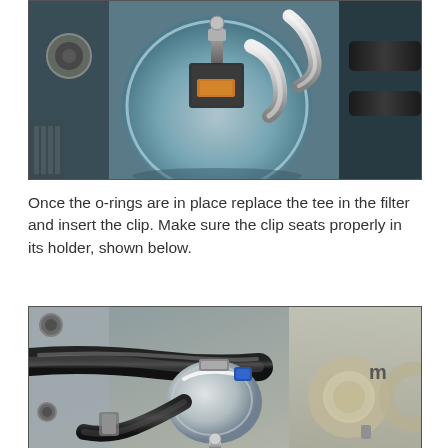[Figure (photo): Close-up photo of a fuel filter showing o-rings and tee fitting at the top of the canister, with metal components and hoses visible.]
Once the o-rings are in place replace the tee in the filter and insert the clip. Make sure the clip seats properly in its holder, shown below.
[Figure (photo): Photo showing the fuel filter installed with the tee and clip seated in its holder, with hoses and clamps visible around the filter assembly.]